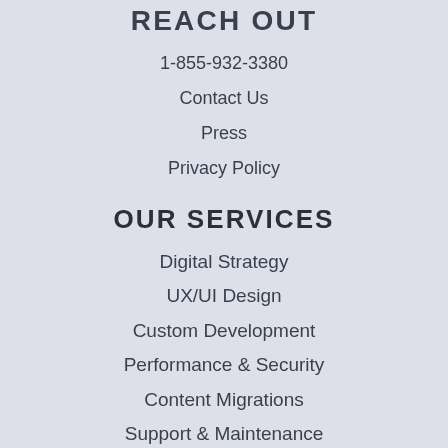REACH OUT
1-855-932-3380
Contact Us
Press
Privacy Policy
OUR SERVICES
Digital Strategy
UX/UI Design
Custom Development
Performance & Security
Content Migrations
Support & Maintenance
ABOUT US